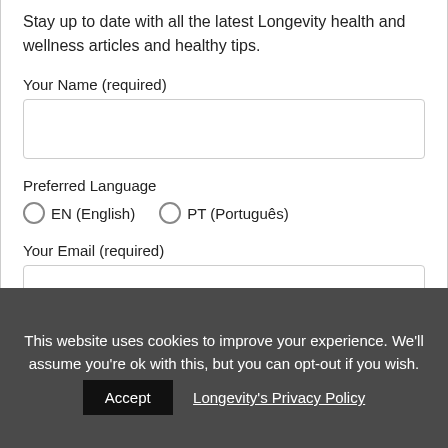Stay up to date with all the latest Longevity health and wellness articles and healthy tips.
Your Name (required)
Preferred Language
EN (English)   PT (Português)
Your Email (required)
By subscribing to Longevity's newsletter, I
This website uses cookies to improve your experience. We'll assume you're ok with this, but you can opt-out if you wish.
Accept   Longevity's Privacy Policy